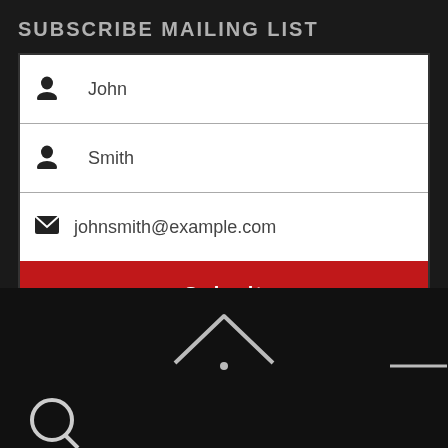SUBSCRIBE MAILING LIST
[Figure (screenshot): Web form with fields for first name (John), last name (Smith), email (johnsmith@example.com), a red Submit button, and a GDPR checkbox agreement]
Yes, I agree with the privacy policy according to GDPR EU laws.
[Figure (illustration): Dark bottom navigation area with a house/home icon chevron, a horizontal dash icon, and a search/magnifier icon]